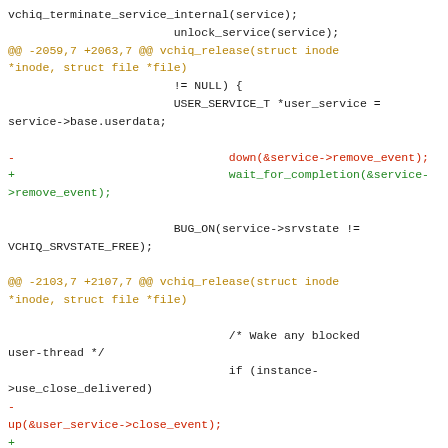Code diff showing vchiq driver changes: vchiq_terminate_service_internal, unlock_service, down replaced by wait_for_completion, up replaced by complete, BUG_ON check, Wake any blocked user-thread comment, instance->completion_remove++
[Figure (screenshot): Source code diff of vchiq Linux kernel driver, showing replacement of down/up semaphore calls with wait_for_completion/complete calls]